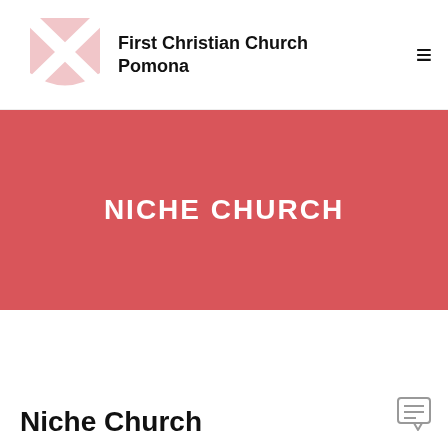[Figure (logo): First Christian Church Pomona logo with a pink shield and cross design]
First Christian Church Pomona
NICHE CHURCH
Niche Church